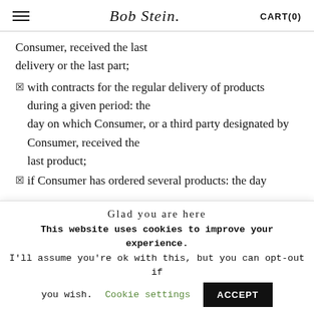☰  [Bob Stein logo]  CART(0)
Consumer, received the last delivery or the last part;
☒ with contracts for the regular delivery of products during a given period: the day on which Consumer, or a third party designated by Consumer, received the last product;
☒ if Consumer has ordered several products: the day
Glad you are here
This website uses cookies to improve your experience. I'll assume you're ok with this, but you can opt-out if you wish.
Cookie settings   ACCEPT